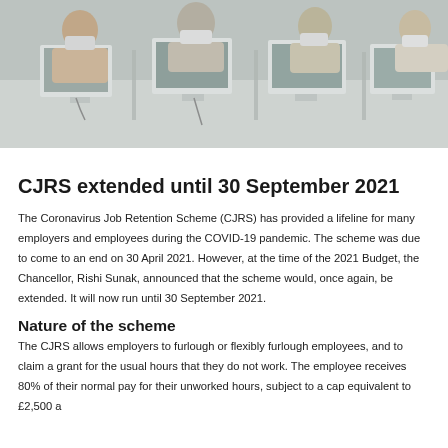[Figure (photo): Office workers wearing face masks working at computer workstations, viewed from above/front angle]
CJRS extended until 30 September 2021
The Coronavirus Job Retention Scheme (CJRS) has provided a lifeline for many employers and employees during the COVID-19 pandemic. The scheme was due to come to an end on 30 April 2021. However, at the time of the 2021 Budget, the Chancellor, Rishi Sunak, announced that the scheme would, once again, be extended. It will now run until 30 September 2021.
Nature of the scheme
The CJRS allows employers to furlough or flexibly furlough employees, and to claim a grant for the usual hours that they do not work. The employee receives 80% of their normal pay for their unworked hours, subject to a cap equivalent to £2,500 a